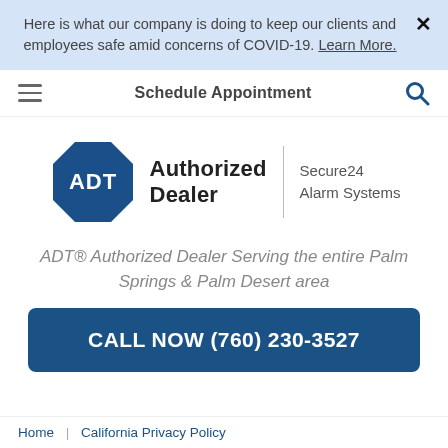Here is what our company is doing to keep our clients and employees safe amid concerns of COVID-19. Learn More.
Schedule Appointment
[Figure (logo): ADT Authorized Dealer logo with octagon badge and Secure24 Alarm Systems text]
ADT® Authorized Dealer Serving the entire Palm Springs & Palm Desert area
CALL NOW (760) 230-3527
Home | California Privacy Policy